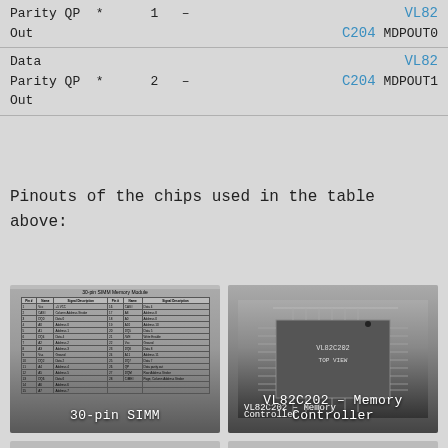| Signal | Type | Symbol | Pin | Dir | Chip | Signal Name |
| --- | --- | --- | --- | --- | --- | --- |
| Parity QP * |  | 1 | – |  | VL82 C204 | MDPOUT0 Out |
| Data |  |  |  |  |  |  |
| Parity QP * |  | 2 | – |  | VL82 C204 | MDPOUT1 Out |
Pinouts of the chips used in the table above:
[Figure (table-as-image): 30-pin SIMM pinout table showing pin numbers, names, and signal descriptions]
30-pin SIMM
[Figure (engineering-diagram): VL82C202 Memory Controller chip pinout diagram showing top view with pin assignments]
VL82C202 – Memory Controller